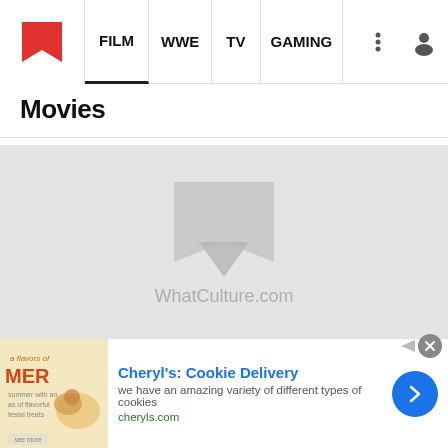FILM | WWE | TV | GAMING
Movies
[Figure (logo): WhatCulture.com logo watermark on grey placeholder image background]
10 Mind-Blowing Long Takes
[Figure (infographic): Advertisement for Cheryl's Cookie Delivery with summer cookies image, blue arrow button, close button, and ads info icon]